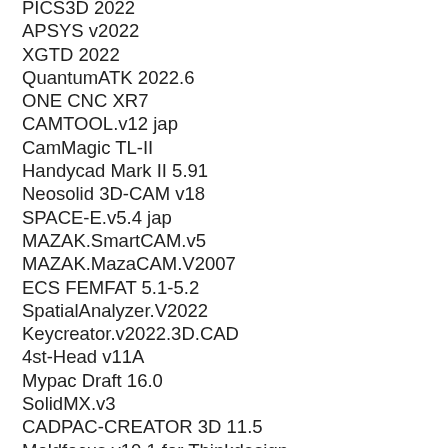PICS3D 2022
APSYS v2022
XGTD 2022
QuantumATK 2022.6
ONE CNC XR7
CAMTOOL.v12 jap
CamMagic TL-II
Handycad Mark II 5.91
Neosolid 3D-CAM v18
SPACE-E.v5.4 jap
MAZAK.SmartCAM.v5
MAZAK.MazaCAM.V2007
ECS FEMFAT 5.1-5.2
SpatialAnalyzer.V2022
Keycreator.v2022.3D.CAD
4st-Head v11A
Mypac Draft 16.0
SolidMX.v3
CADPAC-CREATOR 3D 11.5
Moldfocus.v10.1 for Thinkdesign
CAMTEK.PEPS.v7.014
TFCALC.V3.5.6
Vero.SmirtWare.v9